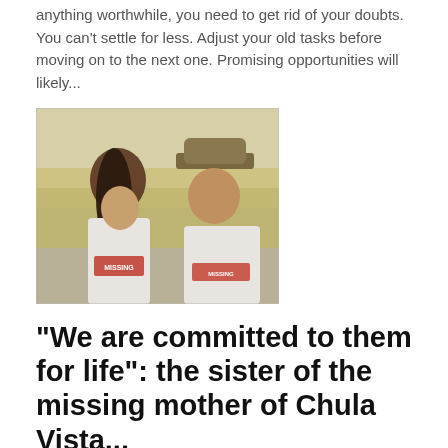anything worthwhile, you need to get rid of your doubts. You can't settle for less. Adjust your old tasks before moving on to the next one. Promising opportunities will likely...
[Figure (photo): A woman with long dark hair and a man wearing a camouflage cap, both in white t-shirts with 'MISSING' printed on them, standing outdoors with yellow flowers in the background.]
“We are committed to them for life”: the sister of the missing mother of Chula Vista...
Eva Wheeler • Nov 5, 2021
CHULA VISTA, Calif .-- The sister of Chula Vista’s missing mother, Maya Millete, asked a court this week that she and her husband